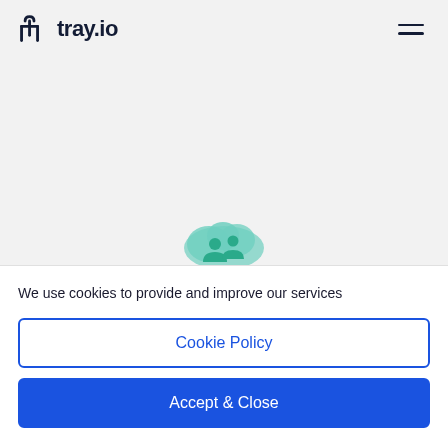tray.io
[Figure (illustration): Cloud with two people silhouettes icon in teal/green color, used as a SaaS/team collaboration illustration]
We use cookies to provide and improve our services
Cookie Policy
Accept & Close
Low-code SampCloud